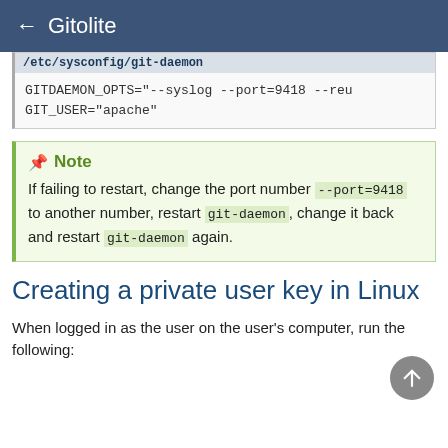← Gitolite
/etc/sysconfig/git-daemon
GITDAEMON_OPTS="--syslog --port=9418 --reu
GIT_USER="apache"
Note
If failing to restart, change the port number --port=9418 to another number, restart git-daemon, change it back and restart git-daemon again.
Creating a private user key in Linux
When logged in as the user on the user's computer, run the following: